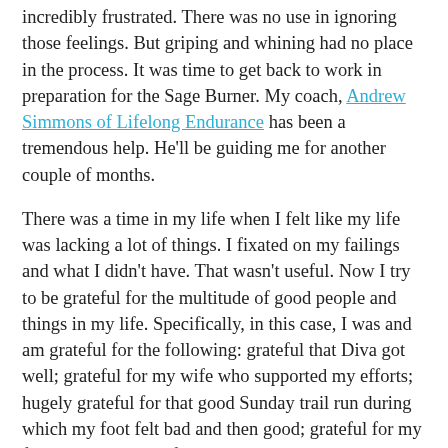incredibly frustrated. There was no use in ignoring those feelings. But griping and whining had no place in the process. It was time to get back to work in preparation for the Sage Burner. My coach, Andrew Simmons of Lifelong Endurance has been a tremendous help. He'll be guiding me for another couple of months.
There was a time in my life when I felt like my life was lacking a lot of things. I fixated on my failings and what I didn't have. That wasn't useful. Now I try to be grateful for the multitude of good people and things in my life. Specifically, in this case, I was and am grateful for the following: grateful that Diva got well; grateful for my wife who supported my efforts; hugely grateful for that good Sunday trail run during which my foot felt bad and then good; grateful for my friends, clients, and family who donated to NRDC (You can